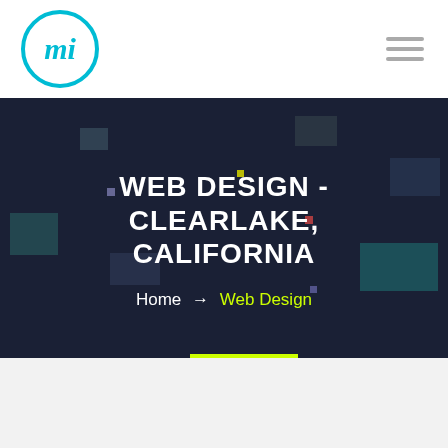[Figure (logo): Circular cyan/blue logo with stylized 'mi' cursive lettering inside a circle]
WEB DESIGN - CLEARLAKE, CALIFORNIA
Home → Web Design
[Figure (illustration): Dark navy hero background with colorful semi-transparent rectangular blocks scattered decoratively]